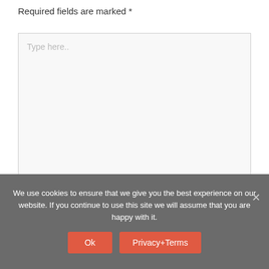Required fields are marked *
[Figure (other): Large empty textarea input box with placeholder text 'Type here..' and a resize handle at the bottom right corner]
We use cookies to ensure that we give you the best experience on our website. If you continue to use this site we will assume that you are happy with it.
Ok
Privacy+Terms